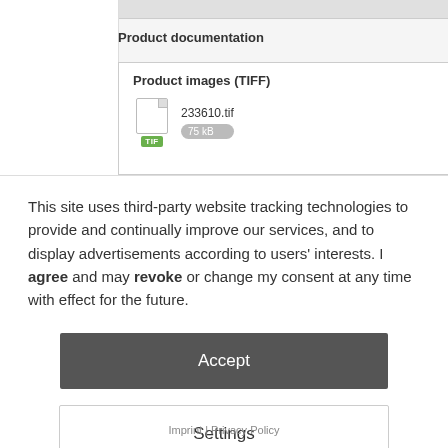Product documentation
Product images (TIFF)
233610.tif
75 kB
This site uses third-party website tracking technologies to provide and continually improve our services, and to display advertisements according to users' interests. I agree and may revoke or change my consent at any time with effect for the future.
Accept
Settings
Imprint | Privacy Policy